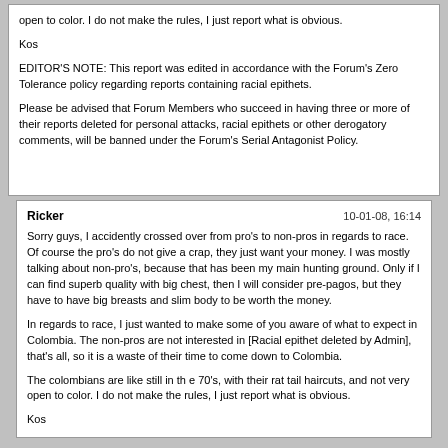open to color. I do not make the rules, I just report what is obvious.

Kos

EDITOR'S NOTE: This report was edited in accordance with the Forum's Zero Tolerance policy regarding reports containing racial epithets.

Please be advised that Forum Members who succeed in having three or more of their reports deleted for personal attacks, racial epithets or other derogatory comments, will be banned under the Forum's Serial Antagonist Policy.
Ricker	10-01-08, 16:14

Sorry guys, I accidently crossed over from pro's to non-pros in regards to race. Of course the pro's do not give a crap, they just want your money. I was mostly talking about non-pro's, because that has been my main hunting ground. Only if I can find superb quality with big chest, then I will consider pre-pagos, but they have to have big breasts and slim body to be worth the money.

In regards to race, I just wanted to make some of you aware of what to expect in Colombia. The non-pros are not interested in [Racial epithet deleted by Admin], that's all, so it is a waste of their time to come down to Colombia.

The colombians are like still in th e 70's, with their rat tail haircuts, and not very open to color. I do not make the rules, I just report what is obvious.

Kos

EDITOR'S NOTE: This report was edited in accordance with the Forum's Zero Tolerance policy regarding reports containing racial epithets.

Please be advised that Forum Members who succeed in having three or more of their reports deleted for personal attacks, racial epithets or other derogatory comments, will be banned under the Forum's Serial Antagonist Policy.In my experience, in general, the KOS is right. However. It's only a generalization.

Of course the pros will take anyone's cash. That's a given.